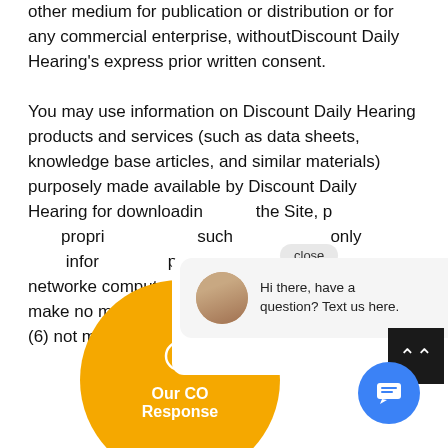other medium for publication or distribution or for any commercial enterprise, withoutDiscount Daily Hearing's express prior written consent.
You may use information on Discount Daily Hearing products and services (such as data sheets, knowledge base articles, and similar materials) purposely made available by Discount Daily Hearing for downloading from the Site, provided that you (1) not remove any proprietary notice language in all copies of such documents, (2) use such information only for your personal, non-commercial informational purpose and do not copy or post such information on any networked computer or broadcast it in any media, make no modifications to any such information, and (6) not make any additional representations or warranties relating
[Figure (screenshot): Chat widget overlay showing a yellow COVID Response circle, a chat bubble with avatar saying 'Hi there, have a question? Text us here.', a close button, a blue chat icon, and a back-to-top arrow button.]